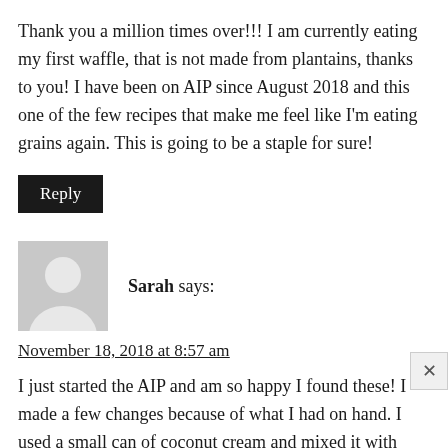Thank you a million times over!!! I am currently eating my first waffle, that is not made from plantains, thanks to you! I have been on AIP since August 2018 and this one of the few recipes that make me feel like I'm eating grains again. This is going to be a staple for sure!
Reply
[Figure (illustration): Generic user avatar: gray square with a white silhouette of a person]
Sarah says:
November 18, 2018 at 8:57 am
I just started the AIP and am so happy I found these! I made a few changes because of what I had on hand. I used a small can of coconut cream and mixed it with enough Califa farms almond milk to equal 13 oz. I also omitted the vanilla because I'm allergic. I preheated my Cuisinart waffle iron for about 15 minutes on setting 5 and cooked the waffles for